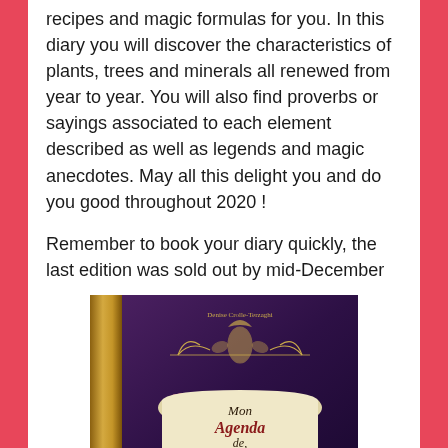recipes and magic formulas for you. In this diary you will discover the characteristics of plants, trees and minerals all renewed from year to year. You will also find proverbs or sayings associated to each element described as well as legends and magic anecdotes. May all this delight you and do you good throughout 2020 !
Remember to book your diary quickly, the last edition was sold out by mid-December
[Figure (photo): Book cover photo of 'Mon Agenda de Sorcière' by Denise Crolle-Terzaghi, showing a purple velvet-like cover with ornate gold decorative frame, a rose illustration, and elegant script text on a cream-colored banner.]